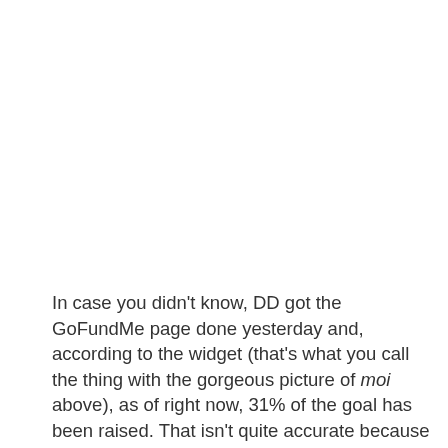In case you didn't know, DD got the GoFundMe page done yesterday and, according to the widget (that's what you call the thing with the gorgeous picture of moi above), as of right now, 31% of the goal has been raised. That isn't quite accurate because people donating through PayPal with the donate button at the bottom of this page have contributed another $953.30. The $3.30 comes from the fact that one of the nice people figured what the fee would be and included